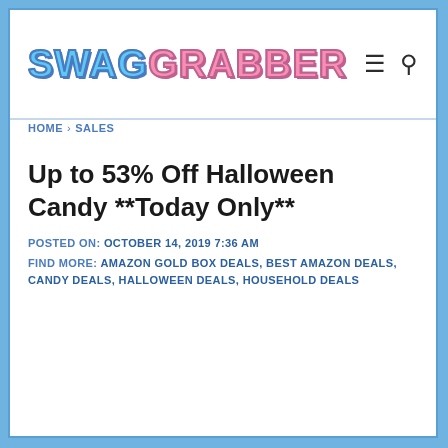SWAG GRABBER
HOME > SALES
Up to 53% Off Halloween Candy **Today Only**
POSTED ON: OCTOBER 14, 2019 7:36 AM
FIND MORE: AMAZON GOLD BOX DEALS, BEST AMAZON DEALS, CANDY DEALS, HALLOWEEN DEALS, HOUSEHOLD DEALS